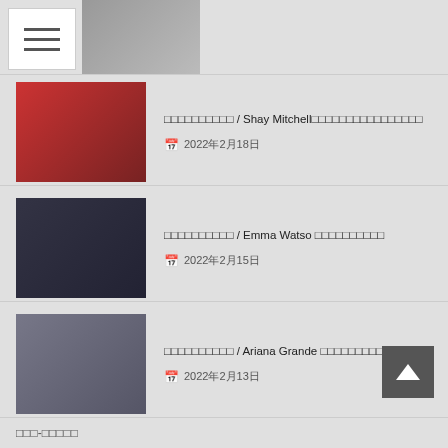Navigation menu and header thumbnail
□□□□□□□□□□ / Shay Mitchell□□□□□□□□□□□□□□□□  2022年2月18日
□□□□□□□□□□ / Emma Watso □□□□□□□□□□  2022年2月15日
□□□□□□□□□□ / Ariana Grande □□□□□□□□□□□□□□□  2022年2月13日
□□□□□□□□□□ / Modern Family □□□□□□□□□  2022年2月12日
□□□-□□□□□